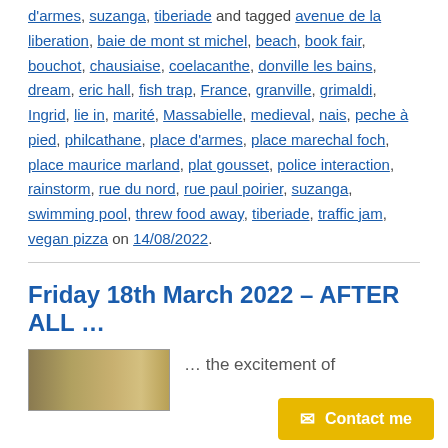d'armes, suzanga, tiberiade and tagged avenue de la liberation, baie de mont st michel, beach, book fair, bouchot, chausiaise, coelacanthe, donville les bains, dream, eric hall, fish trap, France, granville, grimaldi, Ingrid, lie in, marité, Massabielle, medieval, nais, peche à pied, philcathane, place d'armes, place marechal foch, place maurice marland, plat gousset, police interaction, rainstorm, rue du nord, rue paul poirier, suzanga, swimming pool, threw food away, tiberiade, traffic jam, vegan pizza on 14/08/2022.
Friday 18th March 2022 – AFTER ALL ...
... the excitement of